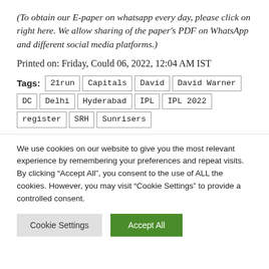(To obtain our E-paper on whatsapp every day, please click on right here. We allow sharing of the paper's PDF on WhatsApp and different social media platforms.)
Printed on: Friday, Could 06, 2022, 12:04 AM IST
Tags: 21run | Capitals | David | David Warner | DC | Delhi | Hyderabad | IPL | IPL 2022 | register | SRH | Sunrisers
We use cookies on our website to give you the most relevant experience by remembering your preferences and repeat visits. By clicking "Accept All", you consent to the use of ALL the cookies. However, you may visit "Cookie Settings" to provide a controlled consent.
Cookie Settings | Accept All